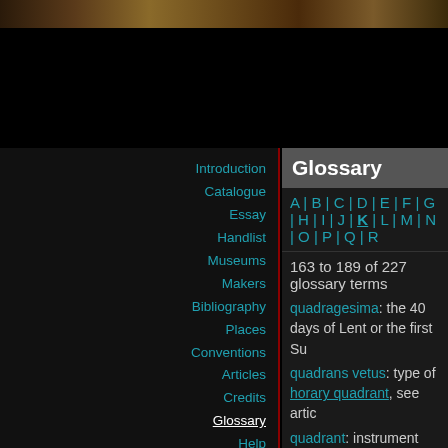[decorative banner image]
Glossary
A | B | C | D | E | F | G | H | I | J | K | L | M | N | O | P | Q | R
163 to 189 of 227 glossary terms
quadragesima: the 40 days of Lent or the first Su...
quadrans vetus: type of horary quadrant, see artic...
quadrant: instrument based on a quarter of a circle... quadrant.
quadratum nauticum: diagram for finding course... and longitudes, see article on the astrolabe.
quatrefoil: decorative form with four leaves or pe...
radio latino: instrument for measuring angles in s... see article on the radio latino.
ramming rods: long rods, often in wood, intended... used to push the projectile inside a cannon, or to... an arquebus.
Navigation: Introduction, Catalogue, Essay, Handlist, Museums, Makers, Bibliography, Places, Conventions, Articles, Credits, Glossary, Help, Search, Index